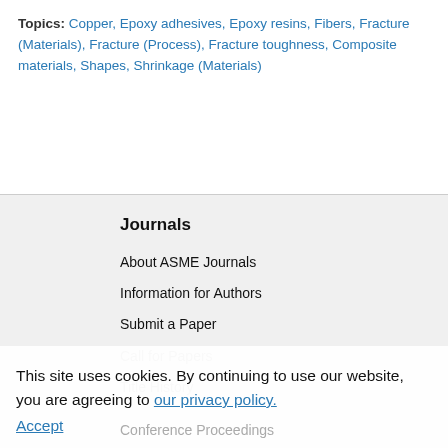Topics: Copper, Epoxy adhesives, Epoxy resins, Fibers, Fracture (Materials), Fracture (Process), Fracture toughness, Composite materials, Shapes, Shrinkage (Materials)
Journals
About ASME Journals
Information for Authors
Submit a Paper
Call for Papers
Title History
This site uses cookies. By continuing to use our website, you are agreeing to our privacy policy. Accept
Conference Proceedings